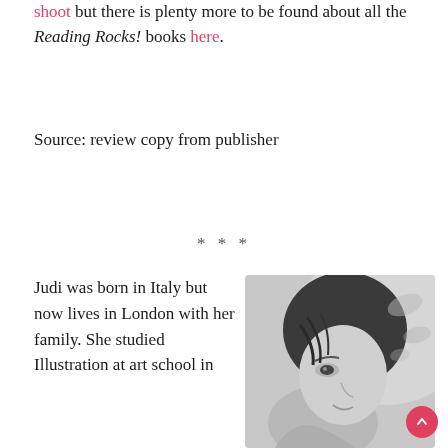shoot but there is plenty more to be found about all the Reading Rocks! books here.
Source: review copy from publisher
* * *
Judi was born in Italy but now lives in London with her family. She studied Illustration at art school in
[Figure (photo): Black and white portrait photograph of a young woman looking over her shoulder, smiling softly.]